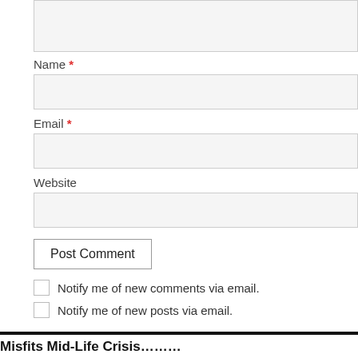[Figure (screenshot): Comment form textarea (top, partially visible)]
Name *
[Figure (screenshot): Name input field]
Email *
[Figure (screenshot): Email input field]
Website
[Figure (screenshot): Website input field]
Post Comment
Notify me of new comments via email.
Notify me of new posts via email.
Misfits Mid-Life Crisis………